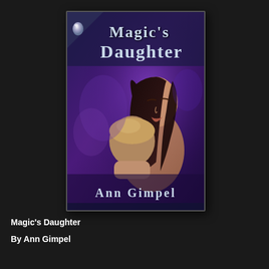[Figure (illustration): Book cover for 'Magic's Daughter' by Ann Gimpel. Purple/blue background with two figures embracing — a dark-haired woman and a blonde man. A silver teardrop logo in the top-left corner. Title 'Magic's Daughter' in large silver/white text at top. Author name 'Ann Gimpel' in large silver/white text at bottom.]
Magic's Daughter
By Ann Gimpel